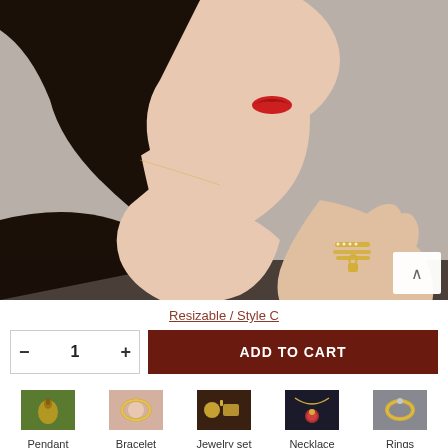[Figure (photo): Close-up side profile of a woman with red lips and dark hair, showing her hand near her chin wearing a gold ring with lock charm and diamond band.]
Resizable / Style C
- 1 + ADD TO CART
[Figure (photo): Pendant category thumbnail]
Pendant
[Figure (photo): Bracelet category thumbnail]
Bracelet
[Figure (photo): Jewelry set category thumbnail]
Jewelry set
[Figure (photo): Necklace category thumbnail]
Necklace
[Figure (photo): Rings category thumbnail]
Rings